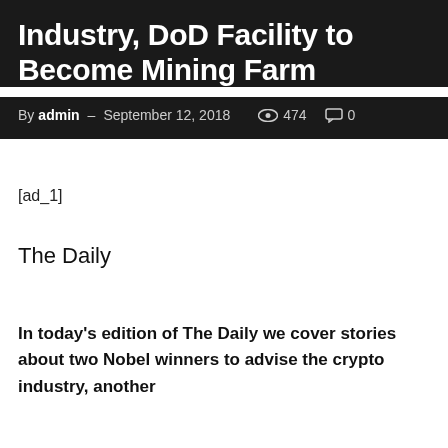Industry, DoD Facility to Become Mining Farm
By admin – September 12, 2018  474  0
[ad_1]
The Daily
In today's edition of The Daily we cover stories about two Nobel winners to advise the crypto industry, another